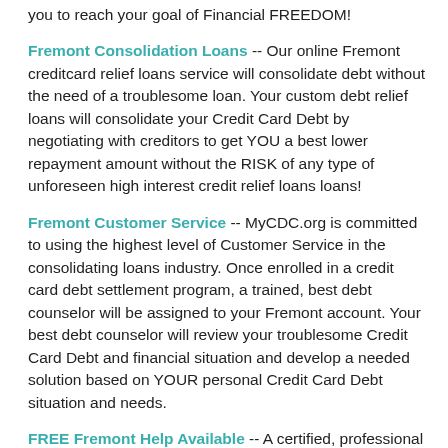you to reach your goal of Financial FREEDOM!
Fremont Consolidation Loans -- Our online Fremont creditcard relief loans service will consolidate debt without the need of a troublesome loan. Your custom debt relief loans will consolidate your Credit Card Debt by negotiating with creditors to get YOU a best lower repayment amount without the RISK of any type of unforeseen high interest credit relief loans loans!
Fremont Customer Service -- MyCDC.org is committed to using the highest level of Customer Service in the consolidating loans industry. Once enrolled in a credit card debt settlement program, a trained, best debt counselor will be assigned to your Fremont account. Your best debt counselor will review your troublesome Credit Card Debt and financial situation and develop a needed solution based on YOUR personal Credit Card Debt situation and needs.
FREE Fremont Help Available -- A certified, professional best counselor will contact you for an absolutely free, no cost debt consultation. Please use the form above to provide your Fremont contact information so the credit card debt counselor can contact